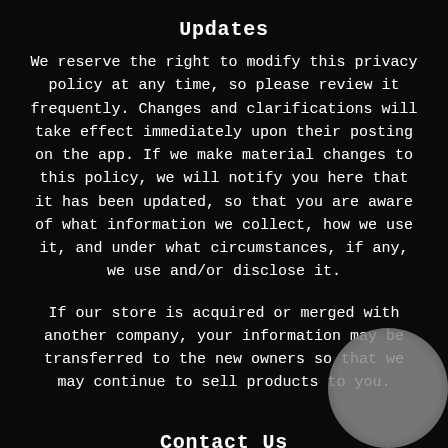Updates
We reserve the right to modify this privacy policy at any time, so please review it frequently. Changes and clarifications will take effect immediately upon their posting on the app. If we make material changes to this policy, we will notify you here that it has been updated, so that you are aware of what information we collect, how we use it, and under what circumstances, if any, we use and/or disclose it.
If our store is acquired or merged with another company, your information may be transferred to the new owners so that we may continue to sell products to you.
Contact Us
If you would like to: access, correct, amend or de personal information we have about you, register a